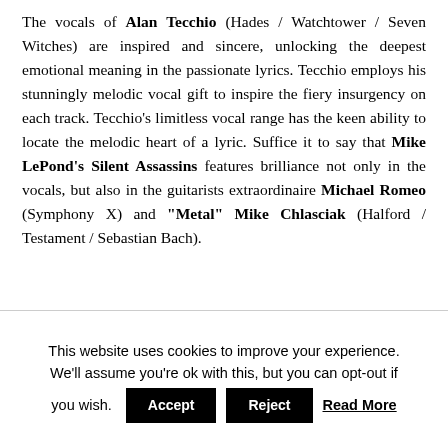The vocals of Alan Tecchio (Hades / Watchtower / Seven Witches) are inspired and sincere, unlocking the deepest emotional meaning in the passionate lyrics. Tecchio employs his stunningly melodic vocal gift to inspire the fiery insurgency on each track. Tecchio's limitless vocal range has the keen ability to locate the melodic heart of a lyric. Suffice it to say that Mike LePond's Silent Assassins features brilliance not only in the vocals, but also in the guitarists extraordinaire Michael Romeo (Symphony X) and "Metal" Mike Chlasciak (Halford / Testament / Sebastian Bach).
This website uses cookies to improve your experience. We'll assume you're ok with this, but you can opt-out if you wish. Accept Reject Read More